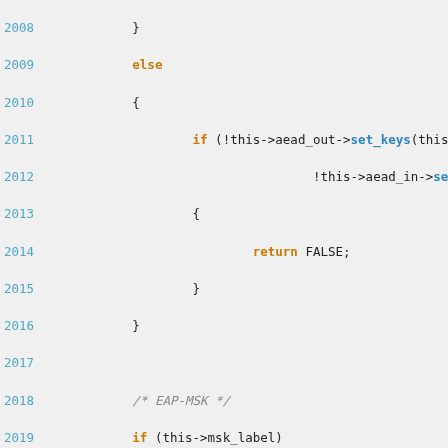Source code listing lines 2008-2027 showing C++ code with EAP-MSK implementation including if/else logic, aead key setting, and MSK chunk allocation.